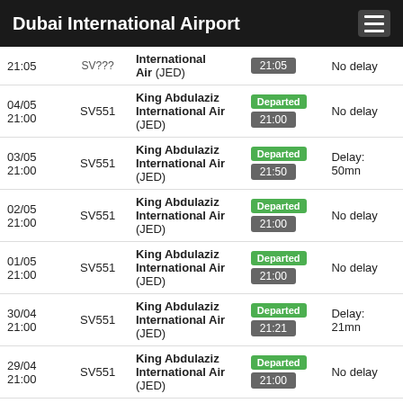Dubai International Airport
| Date/Time | Flight | Destination | Status | Delay |
| --- | --- | --- | --- | --- |
| 21:05 | SV??? | International Air (JED) | 21:05 | No delay |
| 04/05 21:00 | SV551 | King Abdulaziz International Air (JED) | Departed 21:00 | No delay |
| 03/05 21:00 | SV551 | King Abdulaziz International Air (JED) | Departed 21:50 | Delay: 50mn |
| 02/05 21:00 | SV551 | King Abdulaziz International Air (JED) | Departed 21:00 | No delay |
| 01/05 21:00 | SV551 | King Abdulaziz International Air (JED) | Departed 21:00 | No delay |
| 30/04 21:00 | SV551 | King Abdulaziz International Air (JED) | Departed 21:21 | Delay: 21mn |
| 29/04 21:00 | SV551 | King Abdulaziz International Air (JED) | Departed 21:00 | No delay |